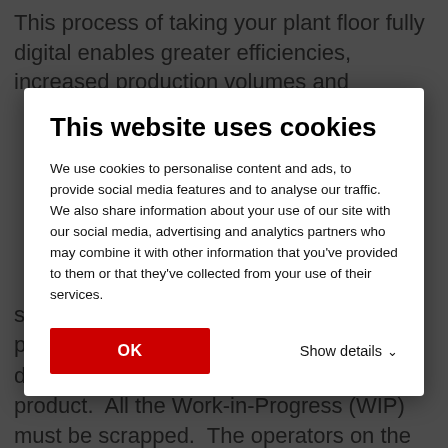This process of taking your plant floor fully digital enables greater efficiencies, increased production volumes and
This website uses cookies
We use cookies to personalise content and ads, to provide social media features and to analyse our traffic. We also share information about your use of our site with our social media, advertising and analytics partners who may combine it with other information that you've provided to them or that they've collected from your use of their services.
OK
Show details ∨
supplier, but no one informed the production team.  Now you need to tear down the line and prepare to run another product.  All the Work-in-Progress (WIP) must be scrapped.  The operators on the line are confused and frustrated.  All this resulting in lost time and materials, ultimately hurting the bottom line.